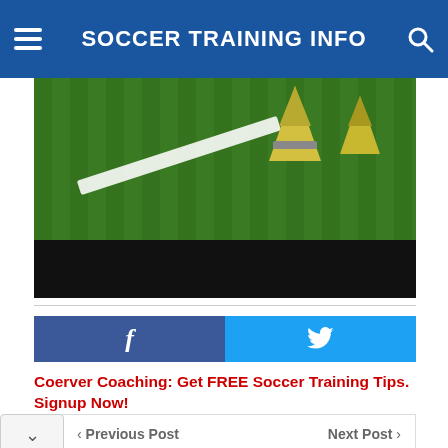SOCCER TRAINING INFO
[Figure (photo): Soccer training field with white line markings and yellow cones on green grass, with a dark/black bar at bottom]
[Figure (infographic): Facebook and Twitter share buttons side by side]
Coerver Coaching: Get FREE Soccer Training Tips. Signup Now!
Previous Post   Next Post